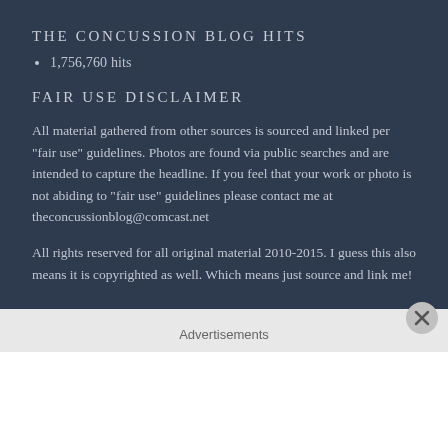THE CONCUSSION BLOG HITS
1,756,760 hits
FAIR USE DISCLAIMER
All material gathered from other sources is sourced and linked per "fair use" guidelines. Photos are found via public searches and are intended to capture the headline. If you feel that your work or photo is not abiding to "fair use" guidelines please contact me at theconcussionblog@comcast.net
All rights reserved for all original material 2010-2015. I guess this also means it is copyrighted as well. Which means just source and link me!
Advertisements